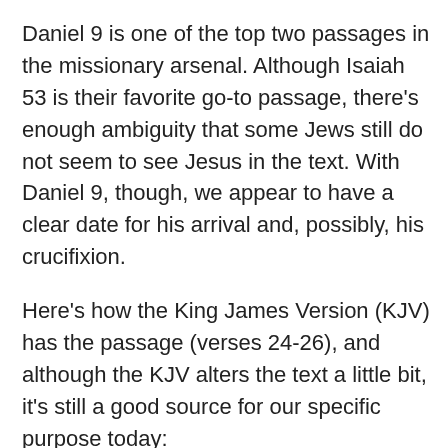Daniel 9 is one of the top two passages in the missionary arsenal. Although Isaiah 53 is their favorite go-to passage, there’s enough ambiguity that some Jews still do not seem to see Jesus in the text. With Daniel 9, though, we appear to have a clear date for his arrival and, possibly, his crucifixion.
Here’s how the King James Version (KJV) has the passage (verses 24-26), and although the KJV alters the text a little bit, it’s still a good source for our specific purpose today:
“[24] Seventy weeks are determined upon thy people and upon thy holy city, to finish the transgression, and to make an end of sins, and to make reconciliation for iniquity, and to bring in everlasting righteousness, and to seal up the